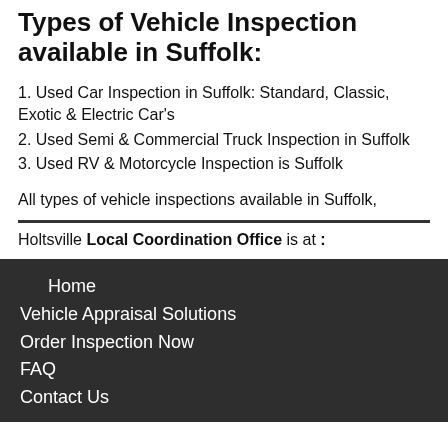Types of Vehicle Inspection available in Suffolk:
1. Used Car Inspection in Suffolk: Standard, Classic, Exotic & Electric Car's
2. Used Semi & Commercial Truck Inspection in Suffolk
3. Used RV & Motorcycle Inspection is Suffolk
All types of vehicle inspections available in Suffolk,
Holtsville Local Coordination Office is at :
Home
Vehicle Appraisal Solutions
Order Inspection Now
FAQ
Contact Us